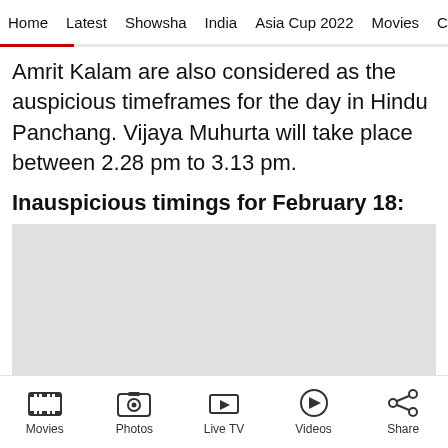Home  Latest  Showsha  India  Asia Cup 2022  Movies  Cricket
Amrit Kalam are also considered as the auspicious timeframes for the day in Hindu Panchang. Vijaya Muhurta will take place between 2.28 pm to 3.13 pm.
Inauspicious timings for February 18:
[Figure (other): Advertisement placeholder box with close button (X)]
Movies  Photos  Live TV  Videos  Share